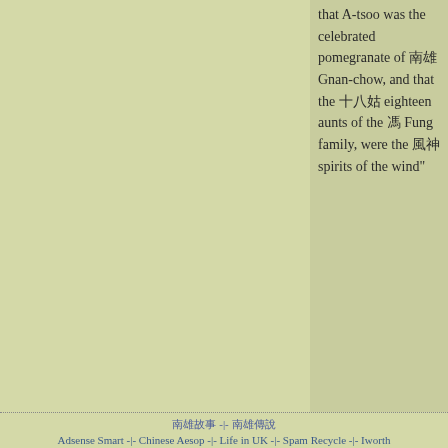that A-tsoo was the celebrated pomegranate of 南雄 Gnan-chow, and that the 十八姑 eighteen aunts of the 馮 Fung family, were the 風神 spirits of the wind"
Comments
You do not have permission to add comments.
南雄故事 -|- 南雄傳說  Adsense Smart -|- Chinese Aesop -|-  Life in UK -|- Spam Recycle -|- Iworth